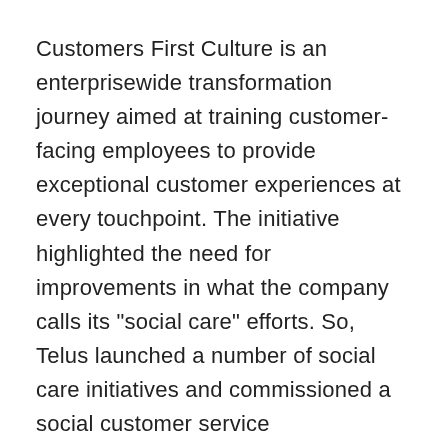Customers First Culture is an enterprisewide transformation journey aimed at training customer-facing employees to provide exceptional customer experiences at every touchpoint. The initiative highlighted the need for improvements in what the company calls its "social care" efforts. So, Telus launched a number of social care initiatives and commissioned a social customer service benchmarking study to provide criteria for internal improvements and to encourage enhancements across all industries.
Carol Borghesi, senior vice president of Customers First Culture at Telus, says that